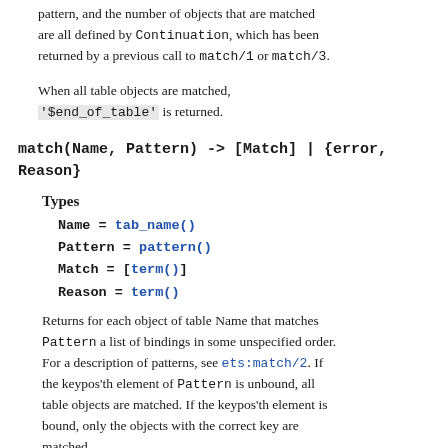pattern, and the number of objects that are matched are all defined by Continuation, which has been returned by a previous call to match/1 or match/3.
When all table objects are matched, '$end_of_table' is returned.
match(Name, Pattern) -> [Match] | {error, Reason}
Types
Name = tab_name()
Pattern = pattern()
Match = [term()]
Reason = term()
Returns for each object of table Name that matches Pattern a list of bindings in some unspecified order. For a description of patterns, see ets:match/2. If the keypos'th element of Pattern is unbound, all table objects are matched. If the keypos'th element is bound, only the objects with the correct key are matched.